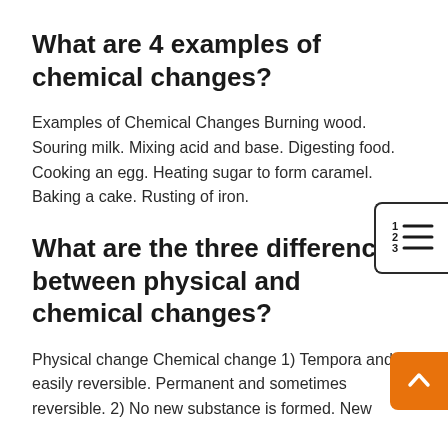What are 4 examples of chemical changes?
Examples of Chemical Changes Burning wood. Souring milk. Mixing acid and base. Digesting food. Cooking an egg. Heating sugar to form caramel. Baking a cake. Rusting of iron.
What are the three differences between physical and chemical changes?
Physical change Chemical change 1) Tempora and easily reversible. Permanent and sometimes reversible. 2) No new substance is formed. New